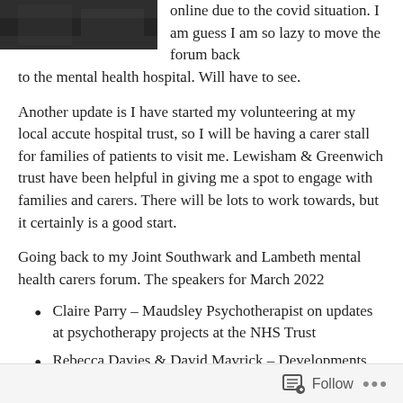[Figure (photo): A partially visible black and white photograph in the top-left corner of the page.]
online due to the covid situation. I am guess I am so lazy to move the forum back to the mental health hospital. Will have to see.
Another update is I have started my volunteering at my local accute hospital trust, so I will be having a carer stall for families of patients to visit me. Lewisham & Greenwich trust have been helpful in giving me a spot to engage with families and carers. There will be lots to work towards, but it certainly is a good start.
Going back to my Joint Southwark and Lambeth mental health carers forum. The speakers for March 2022
Claire Parry – Maudsley Psychotherapist on updates at psychotherapy projects at the NHS Trust
Rebecca Davies & David Mavrick – Developments for
Follow  •••